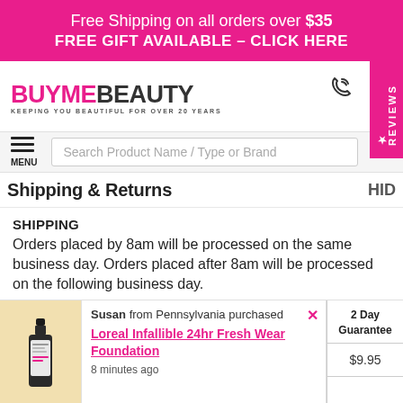Free Shipping on all orders over $35
FREE GIFT AVAILABLE - CLICK HERE
[Figure (logo): BuyMeBeauty logo — BUYMEBEAUTY in pink/dark text, tagline KEEPING YOU BEAUTIFUL FOR OVER 20 YEARS]
Shipping & Returns
SHIPPING
Orders placed by 8am will be processed on the same business day. Orders placed after 8am will be processed on the following business day.
Susan from Pennsylvania purchased
Loreal Infallible 24hr Fresh Wear Foundation
8 minutes ago
|  |  |  | 2 Day Guarantee |
| --- | --- | --- | --- |
|  |  |  | $9.95 |
| $35 | $4.95 | $6.95 | $9.95 |